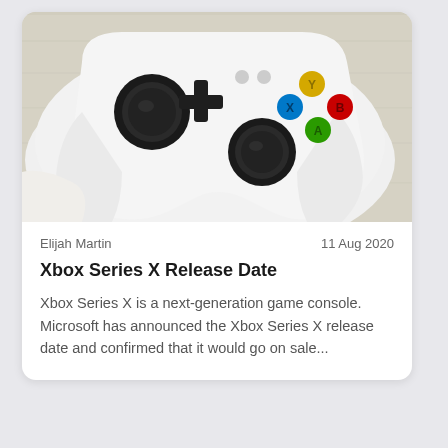[Figure (photo): Close-up photo of a white Xbox Series X controller on a light wooden surface, showing the thumbsticks, d-pad, and colored ABXY buttons (blue, yellow, green, red)]
Elijah Martin	11 Aug 2020
Xbox Series X Release Date
Xbox Series X is a next-generation game console. Microsoft has announced the Xbox Series X release date and confirmed that it would go on sale...